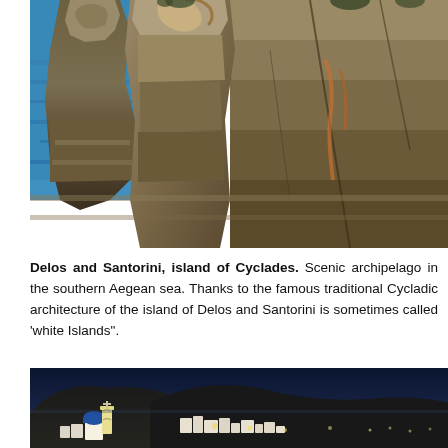[Figure (photo): Close-up photograph of ancient stone statues (Lions of Delos) with turquoise Aegean sea visible in the background, rocky cliff formations with weathered texture]
Delos and Santorini, island of Cyclades. Scenic archipelago in the southern Aegean sea. Thanks to the famous traditional Cycladic architecture of the island of Delos and Santorini is sometimes called 'white Islands".
[Figure (photo): Evening/twilight photograph of Santorini village with blue-domed church and bell tower in foreground, white buildings cascading down hillside, dark mountain silhouette against deep blue dusk sky]